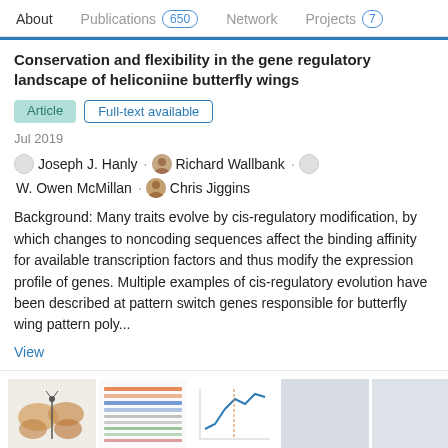About   Publications 650   Network   Projects 7
Conservation and flexibility in the gene regulatory landscape of heliconiine butterfly wings
Article   Full-text available
Jul 2019
Joseph J. Hanly · Richard Wallbank · W. Owen McMillan · Chris Jiggins
Background: Many traits evolve by cis-regulatory modification, by which changes to noncoding sequences affect the binding affinity for available transcription factors and thus modify the expression profile of genes. Multiple examples of cis-regulatory evolution have been described at pattern switch genes responsible for butterfly wing pattern poly...
View
[Figure (screenshot): Row of five thumbnail images of scientific figures from the article]